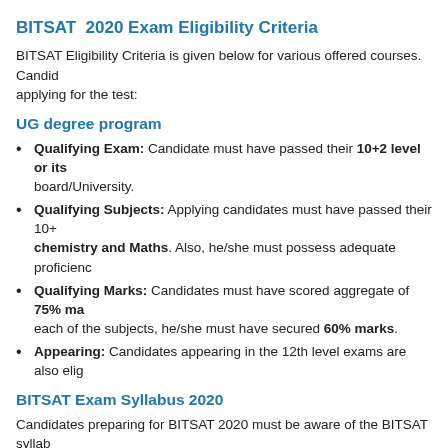BITSAT  2020 Exam Eligibility Criteria
BITSAT Eligibility Criteria is given below for various offered courses. Candidates applying for the test:
UG degree program
Qualifying Exam: Candidate must have passed their 10+2 level or its board/University.
Qualifying Subjects: Applying candidates must have passed their 10+ chemistry and Maths. Also, he/she must possess adequate proficiency
Qualifying Marks: Candidates must have scored aggregate of 75% ma each of the subjects, he/she must have secured 60% marks.
Appearing: Candidates appearing in the 12th level exams are also elig
BITSAT Exam Syllabus 2020
Candidates preparing for BITSAT 2020 must be aware of the BITSAT syllab where the questions will be asked in the exam. The BITSAT 2020 syllabus w (BITS)  in online mode. BITSAT 2020 exam will consist of topics from Physio comprise concepts from NCERT curriculum of class 11 and 12. It is very ne to know what are the topics that will form the question paper of the entrance
BITSAT 2020 Exam Pattern